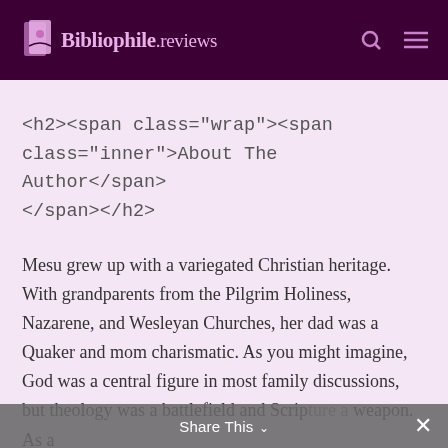Bibliophile.reviews
<h2><span class="wrap"><span class="inner">About The Author</span></span></h2>
Mesu grew up with a variegated Christian heritage. With grandparents from the Pilgrim Holiness, Nazarene, and Wesleyan Churches, her dad was a Quaker and mom charismatic. As you might imagine, God was a central figure in most family discussions, but theology was a battlefield and Scripture a weapon. As a